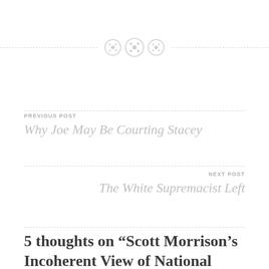[Figure (illustration): Decorative divider with three circular button-like icons centered on a dashed horizontal line]
PREVIOUS POST
Why Joe May Be Courting Stacey
NEXT POST
The White Supremacist Left
5 thoughts on “Scott Morrison’s Incoherent View of National Identity”
Pingback: Why Liberalism is Insufficient – Aussie